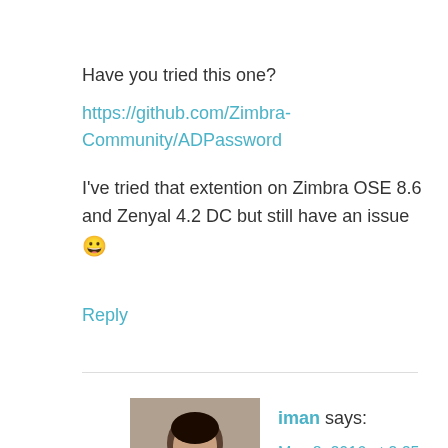Have you tried this one?
https://github.com/Zimbra-Community/ADPassword
I've tried that extention on Zimbra OSE 8.6 and Zenyal 4.2 DC but still have an issue 😀
Reply
[Figure (photo): Avatar photo of commenter iman, showing a young man smiling]
iman says:
May 8, 2016 at 2:25 am
Hi pak,
Yes. But i am also still struggle with it 😀 .